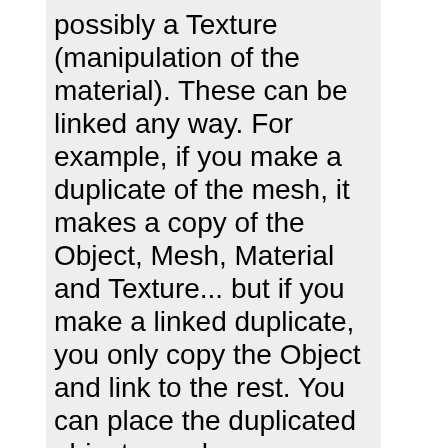possibly a Texture (manipulation of the material). These can be linked any way. For example, if you make a duplicate of the mesh, it makes a copy of the Object, Mesh, Material and Texture... but if you make a linked duplicate, you only copy the Object and link to the rest. You can place the duplicated object anywhere you want and rotate it any way you please, but the actual mesh is stored only once - this saves storage space. Also, a more mundane example: You can have multiple object that link to same material/texture.
Blender has three typical editing commands: Grab, Scale and Rotate. All